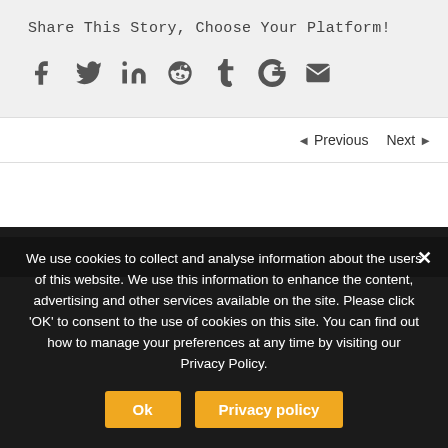Share This Story, Choose Your Platform!
[Figure (infographic): Social sharing icons: Facebook (f), Twitter (t), LinkedIn (in), Reddit, Tumblr (t.), Google+ (g+), Email (envelope)]
◄ Previous   Next ►
We use cookies to collect and analyse information about the users of this website. We use this information to enhance the content, advertising and other services available on the site. Please click 'OK' to consent to the use of cookies on this site. You can find out how to manage your preferences at any time by visiting our Privacy Policy.
Ok   Privacy policy